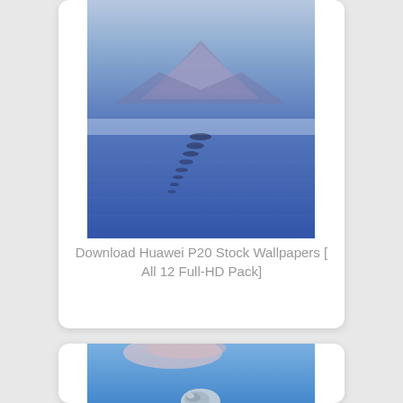[Figure (photo): A scenic landscape photo showing a mountain reflected in a calm blue salt flat or lake, with stepping stones or rocks leading into the distance. The sky and water are both shades of blue.]
Download Huawei P20 Stock Wallpapers [ All 12 Full-HD Pack]
[Figure (photo): A partial photo showing a blue sky with clouds and what appears to be a space helmet or reflective object at the bottom.]